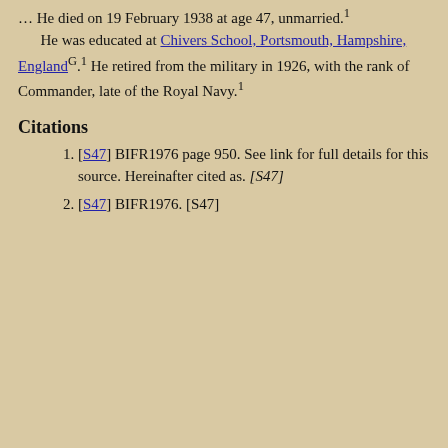... He died on 19 February 1938 at age 47, unmarried.¹ He was educated at Chivers School, Portsmouth, Hampshire, EnglandG.¹ He retired from the military in 1926, with the rank of Commander, late of the Royal Navy.¹
Citations
[S47] BIFR1976 page 950. See link for full details for this source. Hereinafter cited as. [S47]
[S47] BIFR1976. [S47]